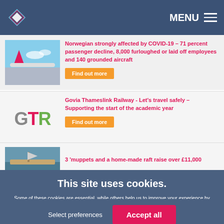MENU
Norwegian strongly affected by COVID-19 – 71 percent passenger decline, 8,000 furloughed or laid off employees and 140 grounded aircraft
Find out more
[Figure (logo): GTR Govia Thameslink Railway logo in grey, pink and green letters]
Govia Thameslink Railway - Let's travel safely – Supporting the start of the academic year
Find out more
3 'muppets and a home-made raft raise over £11,000
This site uses cookies.
Some of these cookies are essential, while others help us to improve your experience by providing insights into how the site is being used. For more detailed information on the cookies we use, please check our Privacy Policy
Select preferences
Accept all